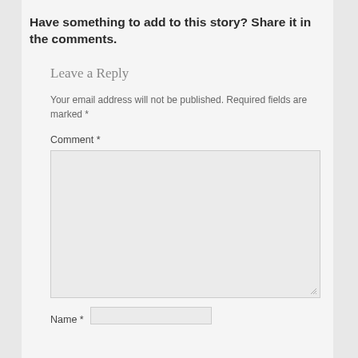Have something to add to this story? Share it in the comments.
Leave a Reply
Your email address will not be published. Required fields are marked *
Comment *
Name *